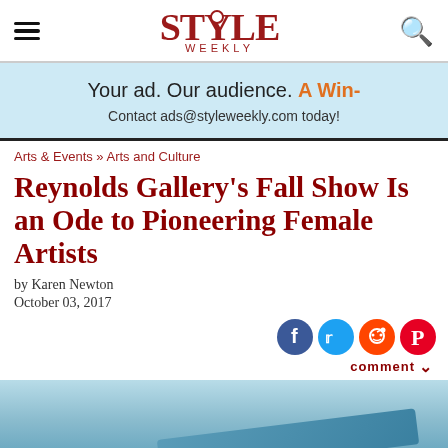STYLE WEEKLY
[Figure (other): Advertisement banner with light blue background: 'Your ad. Our audience. A Win-' and 'Contact ads@styleweekly.com today!']
Arts & Events » Arts and Culture
Reynolds Gallery's Fall Show Is an Ode to Pioneering Female Artists
by Karen Newton
October 03, 2017
[Figure (other): Social media share icons: Facebook, Twitter, Reddit, Pinterest, and a comment dropdown button]
[Figure (photo): Bottom portion of an artwork image with light blue/teal tones]